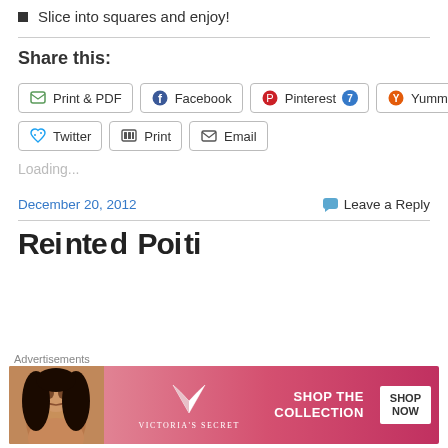Slice into squares and enjoy!
Share this:
Print & PDF  Facebook  Pinterest 7  Yummly  Twitter  Print  Email
Loading...
December 20, 2012    Leave a Reply
Advertisements
[Figure (photo): Victoria's Secret advertisement banner with model and Shop The Collection Shop Now button]